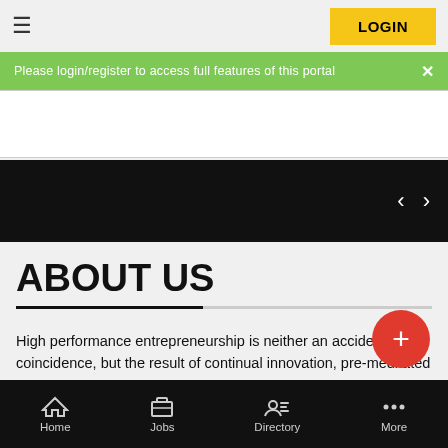LOGIN
Please login/register to access full features of this portal
[Figure (screenshot): White card/search area]
[Figure (screenshot): Black image slider with left and right navigation arrows]
ABOUT US
High performance entrepreneurship is neither an accident nor a coincidence, but the result of continual innovation, pre-meditated planning, honing the skills, deepening the domain knowledge and acquiring the right attitude. Great entrepreneurs generate wealth not just for themselves, but for all around them and beyond. It's a deeply
Home  Jobs  Directory  More